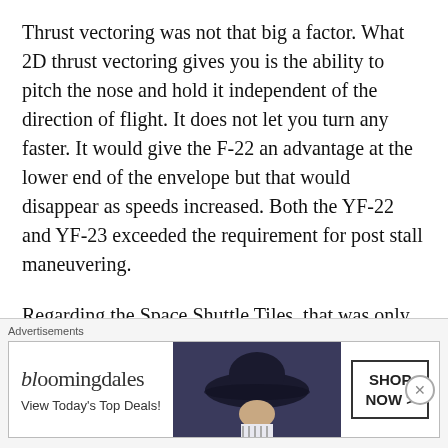Thrust vectoring was not that big a factor. What 2D thrust vectoring gives you is the ability to pitch the nose and hold it independent of the direction of flight. It does not let you turn any faster. It would give the F-22 an advantage at the lower end of the envelope but that would disappear as speeds increased. Both the YF-22 and YF-23 exceeded the requirement for post stall maneuvering.
Regarding the Space Shuttle Tiles, that was only for the prototypes. it was cheaper and easier to use existing equipment rater that
Advertisements
[Figure (other): Bloomingdale's advertisement banner with logo, 'View Today's Top Deals!' tagline, a woman with a large dark hat, and a 'SHOP NOW >' call-to-action button.]